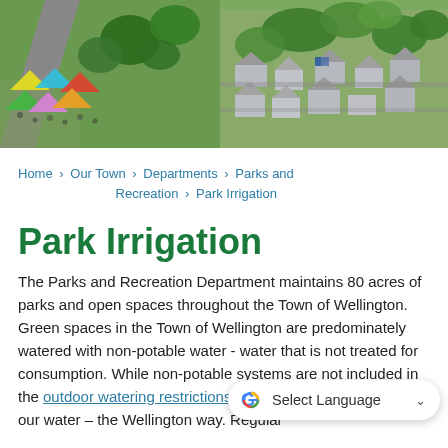[Figure (photo): Aerial/overhead photo of Wellington town showing a street fair or outdoor event on the left with colorful tents and people, and a residential neighborhood with houses and trees on the right.]
Home › Our Town › Departments › Parks and Recreation › Park Irrigation
Park Irrigation
The Parks and Recreation Department maintains 80 acres of parks and open spaces throughout the Town of Wellington. Green spaces in the Town of Wellington are predominately watered with non-potable water - water that is not treated for consumption. While non-potable systems are not included in the outdoor watering restrictions, we are committed to valuing our water – the Wellington way. Regular